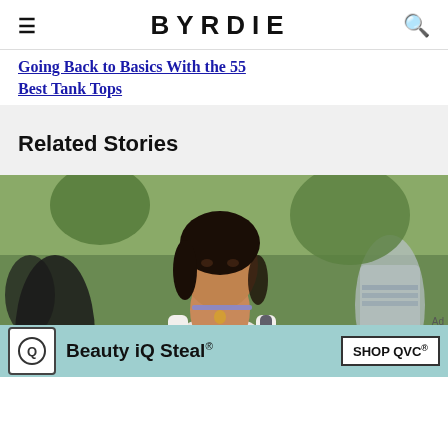BYRDIE
Going Back to Basics With the 55 Best Tank Tops
Related Stories
[Figure (photo): Young woman wearing a white tank top and choker necklace at an outdoor event, with blurred crowd and green trees in the background.]
Beauty iQ Steal® SHOP QVC®